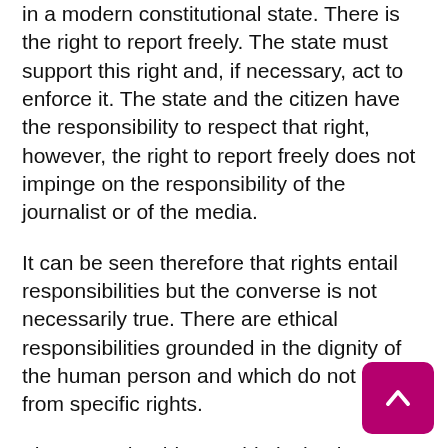in a modern constitutional state. There is the right to report freely. The state must support this right and, if necessary, act to enforce it. The state and the citizen have the responsibility to respect that right, however, the right to report freely does not impinge on the responsibility of the journalist or of the media.
It can be seen therefore that rights entail responsibilities but the converse is not necessarily true. There are ethical responsibilities grounded in the dignity of the human person and which do not flow from specific rights.
The West should put aside its hesitancy. There are some I believe genuinely wondering what the impact on the Universal Declaration of Human Rights would be.